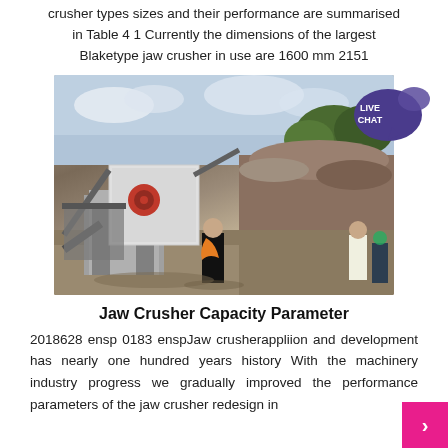crusher types sizes and their performance are summarised in Table 4 1 Currently the dimensions of the largest Blaketype jaw crusher in use are 1600 mm 2151
[Figure (photo): Photograph of a jaw crusher machine in an outdoor industrial setting, with workers standing nearby and a large pile of rocks/aggregate in the background. A 'LIVE CHAT' speech bubble badge overlays the top-right corner of the image.]
Jaw Crusher Capacity Parameter
2018628 ensp 0183 enspJaw crusherappliion and development has nearly one hundred years history With the machinery industry progress we gradually improved the performance parameters of the jaw crusher redesign in